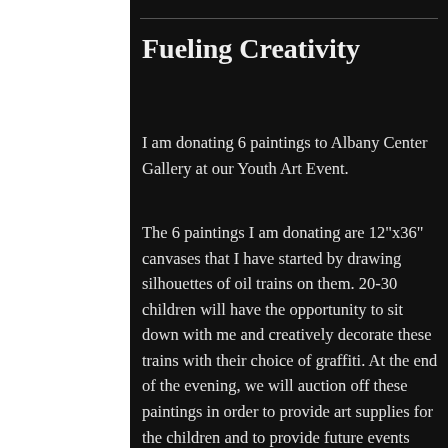Fueling Creativity
I am donating 6 paintings to Albany Center Gallery at our Youth Art Event.
The 6 paintings I am donating are 12"x36" canvases that I have started by drawing silhouettes of oil trains on them. 20-30 children will have the opportunity to sit down with me and creatively decorate these trains with their choice of graffiti. At the end of the evening, we will auction off these paintings in order to provide art supplies for the children and to provide future events that bring together children and local artists from the area.